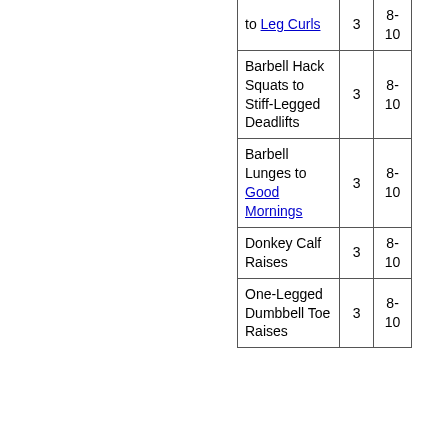| Exercise | Sets | Reps |
| --- | --- | --- |
| to Leg Curls | 3 | 8-10 |
| Barbell Hack Squats to Stiff-Legged Deadlifts | 3 | 8-10 |
| Barbell Lunges to Good Mornings | 3 | 8-10 |
| Donkey Calf Raises | 3 | 8-10 |
| One-Legged Dumbbell Toe Raises | 3 | 8-10 |